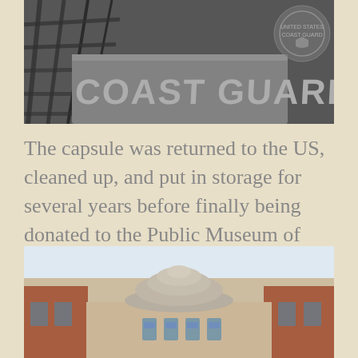[Figure (photo): Black and white photograph of a US Coast Guard vessel or equipment, showing 'COAST GUARD' text and the Coast Guard emblem/seal]
The capsule was returned to the US, cleaned up, and put in storage for several years before finally being donated to the Public Museum of Grand Rapids in Grand Rapids, Michigan, where it remains on display.
[Figure (photo): Color photograph of the exterior of the Public Museum of Grand Rapids building, showing a domed rotunda structure with brick facade]